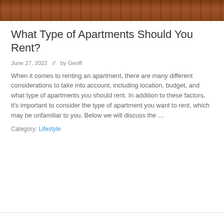[Figure (photo): Photograph of brick apartment buildings with green trees]
What Type of Apartments Should You Rent?
June 27, 2022  //  by Geoff
When it comes to renting an apartment, there are many different considerations to take into account, including location, budget, and what type of apartments you should rent. In addition to these factors, it's important to consider the type of apartment you want to rent, which may be unfamiliar to you. Below we will discuss the …
Category: Lifestyle